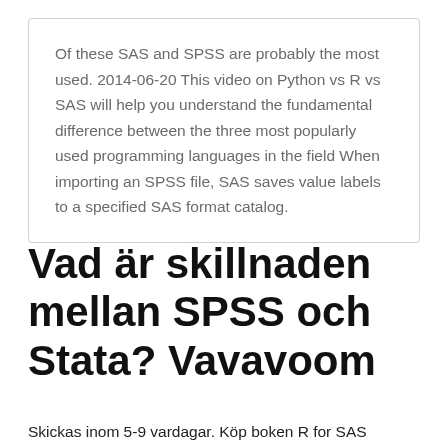Of these SAS and SPSS are probably the most used. 2014-06-20 This video on Python vs R vs SAS will help you understand the fundamental difference between the three most popularly used programming languages in the field When importing an SPSS file, SAS saves value labels to a specified SAS format catalog.
Vad är skillnaden mellan SPSS och Stata? Vavavoom
Skickas inom 5-9 vardagar. Köp boken R for SAS